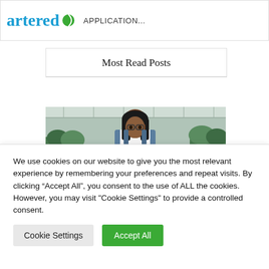artered APPLICATION...
Most Read Posts
[Figure (photo): A woman wearing glasses and blue overalls with yellow gardening gloves working with plants in a greenhouse setting.]
We use cookies on our website to give you the most relevant experience by remembering your preferences and repeat visits. By clicking “Accept All”, you consent to the use of ALL the cookies. However, you may visit "Cookie Settings" to provide a controlled consent.
Cookie Settings
Accept All